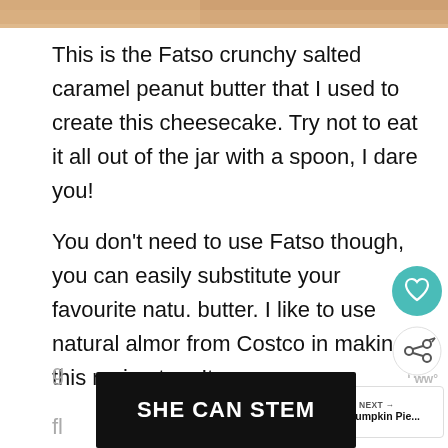[Figure (photo): Partial photo visible at top of page, appears to be food/product image with warm tones]
This is the Fatso crunchy salted caramel peanut butter that I used to create this cheesecake.  Try not to eat it all out of the jar with a spoon, I dare you!
You don't need to use Fatso though, you can easily substitute your favourite natu. butter.  I like to use natural almor from Costco in making this recipe too.  It
[Figure (screenshot): Floating UI element showing heart/favorite button (teal circle) and share button]
[Figure (screenshot): WHAT'S NEXT widget showing Keto Pumpkin Pie... with thumbnail]
[Figure (screenshot): Ad banner: SHE CAN STEM in white bold text on black background]